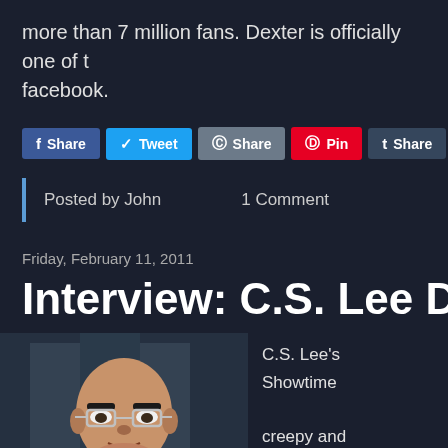more than 7 million fans. Dexter is officially one of [the top shows on] facebook.
Share | Tweet | Share | Pin | Share | M[ail]
Posted by John  1 Comment
Friday, February 11, 2011
Interview: C.S. Lee Dish
[Figure (photo): Photo of C.S. Lee, a bald Asian man wearing glasses, looking at something off-camera]
C.S. Lee's [character on] Showtime [is] creepy and